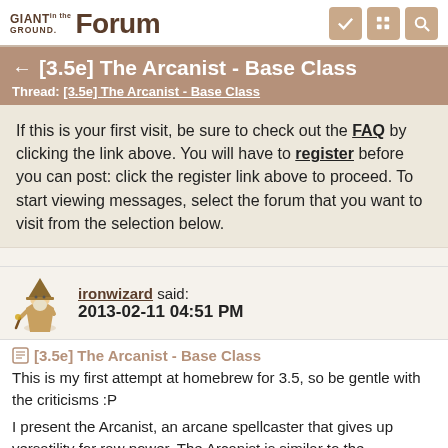GIANT in the GROUND. Forum
[3.5e] The Arcanist - Base Class
Thread: [3.5e] The Arcanist - Base Class
If this is your first visit, be sure to check out the FAQ by clicking the link above. You will have to register before you can post: click the register link above to proceed. To start viewing messages, select the forum that you want to visit from the selection below.
ironwizard said:
2013-02-11 04:51 PM
[3.5e] The Arcanist - Base Class
This is my first attempt at homebrew for 3.5, so be gentle with the criticisms :P
I present the Arcanist, an arcane spellcaster that gives up versatility for raw power. The Arcanist is similar to the